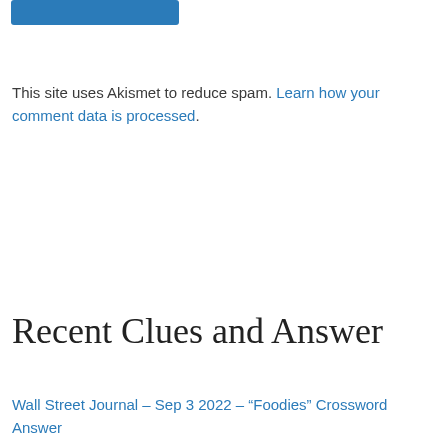[Figure (other): Blue button/rectangle at top of page]
This site uses Akismet to reduce spam. Learn how your comment data is processed.
Recent Clues and Answer
Wall Street Journal – Sep 3 2022 – “Foodies” Crossword Answer